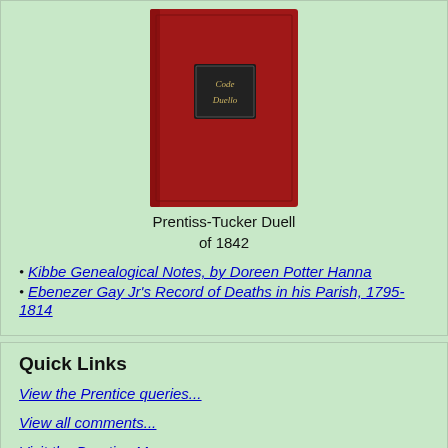[Figure (photo): Red book cover with a small dark label reading 'Code Duello', representing the Prentiss-Tucker Duell of 1842]
Prentiss-Tucker Duell of 1842
Kibbe Genealogical Notes, by Doreen Potter Hanna
Ebenezer Gay Jr's Record of Deaths in his Parish, 1795-1814
Quick Links
View the Prentice queries...
View all comments...
Visit the Prentice Museum...
The Prentice news (from Google)...